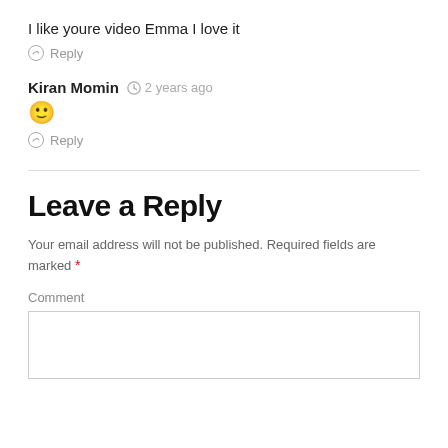I like youre video Emma I love it
Reply
Kiran Momin  2 years ago
🙂
Reply
Leave a Reply
Your email address will not be published. Required fields are marked *
Comment